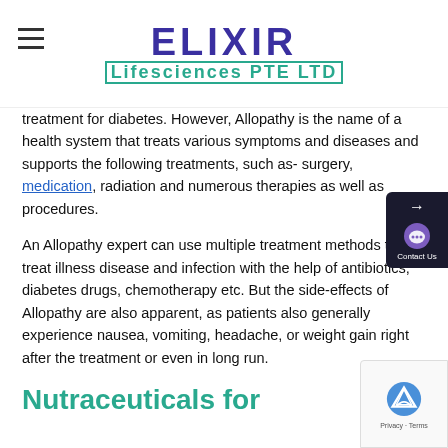ELIXIR Lifesciences PTE LTD
treatment for diabetes. However, Allopathy is the name of a health system that treats various symptoms and diseases and supports the following treatments, such as- surgery, medication, radiation and numerous therapies as well as procedures.
An Allopathy expert can use multiple treatment methods to treat illness disease and infection with the help of antibiotics, diabetes drugs, chemotherapy etc. But the side-effects of Allopathy are also apparent, as patients also generally experience nausea, vomiting, headache, or weight gain right after the treatment or even in long run.
Nutraceuticals for